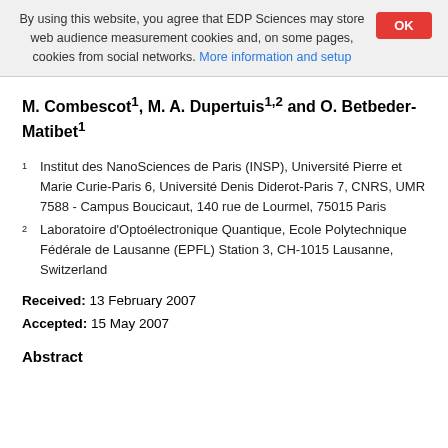By using this website, you agree that EDP Sciences may store web audience measurement cookies and, on some pages, cookies from social networks. More information and setup
M. Combescot1, M. A. Dupertuis1,2 and O. Betbeder-Matibet1
1 Institut des NanoSciences de Paris (INSP), Université Pierre et Marie Curie-Paris 6, Université Denis Diderot-Paris 7, CNRS, UMR 7588 - Campus Boucicaut, 140 rue de Lourmel, 75015 Paris
2 Laboratoire d'Optoélectronique Quantique, Ecole Polytechnique Fédérale de Lausanne (EPFL) Station 3, CH-1015 Lausanne, Switzerland
Received: 13 February 2007
Accepted: 15 May 2007
Abstract